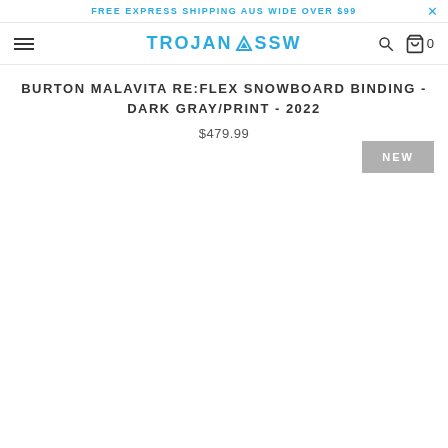FREE EXPRESS SHIPPING AUS WIDE OVER $99
[Figure (logo): Trojan SSW logo with mountain icon in blue text]
BURTON MALAVITA RE:FLEX SNOWBOARD BINDING - DARK GRAY/PRINT - 2022
$479.99
NEW